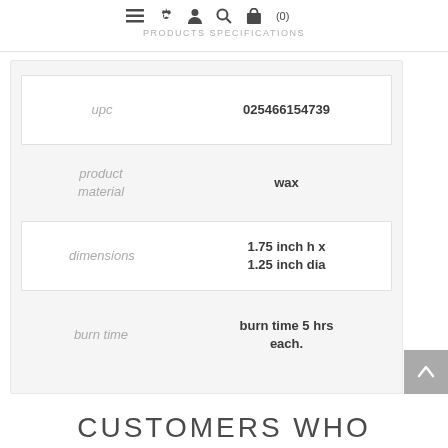PRODUCTS SPECIFICATIONS
| Attribute | Value |
| --- | --- |
| upc | 025466154739 |
| product material | wax |
| dimensions | 1.75 inch h x 1.25 inch dia |
| burn time | burn time 5 hrs each. |
CUSTOMERS WHO